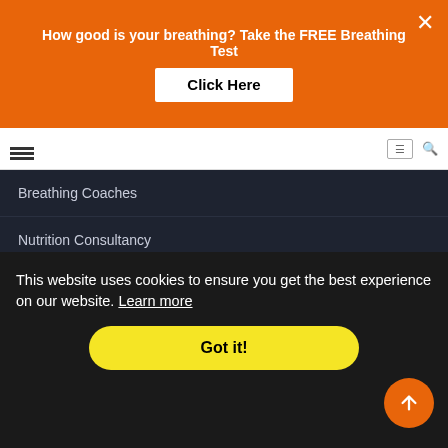How good is your breathing? Take the FREE Breathing Test | Click Here
Breathing Coaches
Nutrition Consultancy
Ayurvedic Consultants
Terms of Service | Privacy Policy | Disclaimer | About | icy
This website uses cookies to ensure you get the best experience on our website. Learn more
Got it!